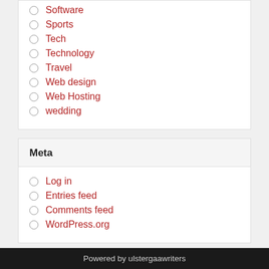Software
Sports
Tech
Technology
Travel
Web design
Web Hosting
wedding
Meta
Log in
Entries feed
Comments feed
WordPress.org
Powered by ulstergaawriters